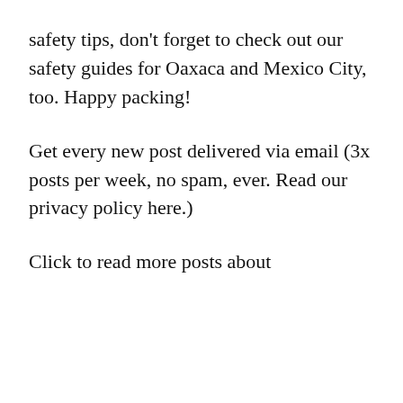safety tips, don't forget to check out our safety guides for Oaxaca and Mexico City, too. Happy packing!
Get every new post delivered via email (3x posts per week, no spam, ever. Read our privacy policy here.)
Click to read more posts about